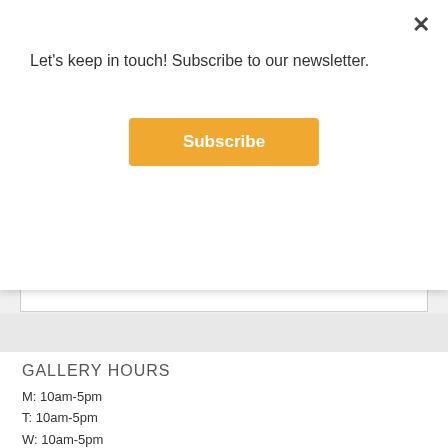Let's keep in touch! Subscribe to our newsletter.
Subscribe
9pm
GALLERY HOURS
M: 10am-5pm
T: 10am-5pm
W: 10am-5pm
TR: 10am-5pm
F: 10am-5pm
SUN: 1pm-4pm